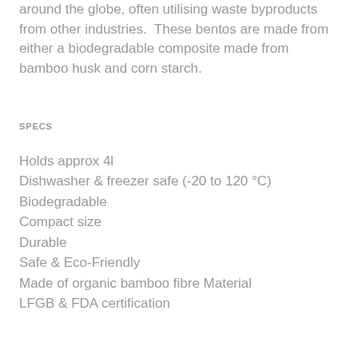around the globe, often utilising waste byproducts from other industries.  These bentos are made from either a biodegradable composite made from bamboo husk and corn starch.
SPECS
Holds approx 4l
Dishwasher & freezer safe (-20 to 120 °C)
Biodegradable
Compact size
Durable
Safe & Eco-Friendly
Made of organic bamboo fibre Material
LFGB & FDA certification